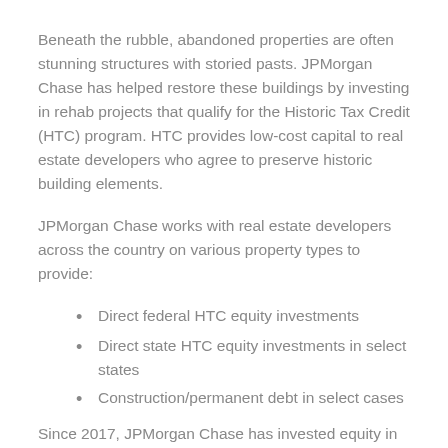Beneath the rubble, abandoned properties are often stunning structures with storied pasts. JPMorgan Chase has helped restore these buildings by investing in rehab projects that qualify for the Historic Tax Credit (HTC) program. HTC provides low-cost capital to real estate developers who agree to preserve historic building elements.
JPMorgan Chase works with real estate developers across the country on various property types to provide:
Direct federal HTC equity investments
Direct state HTC equity investments in select states
Construction/permanent debt in select cases
Since 2017, JPMorgan Chase has invested equity in